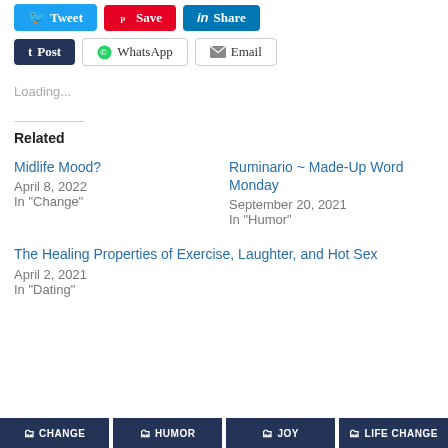[Figure (screenshot): Social sharing buttons: Tweet (blue), Save (red/Pinterest), Share (LinkedIn blue)]
[Figure (screenshot): Social sharing buttons row 2: Post (dark blue/Tumblr), WhatsApp (white with icon), Email (white with icon)]
Loading...
Related
Midlife Mood?
April 8, 2022
In "Change"
Ruminario ~ Made-Up Word Monday
September 20, 2021
In "Humor"
The Healing Properties of Exercise, Laughter, and Hot Sex
April 2, 2021
In "Dating"
CHANGE   HUMOR   JOY   LIFE CHANGE